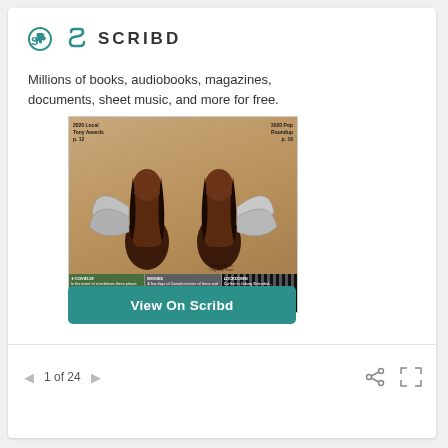[Figure (logo): Scribd logo: teal S-shaped icon followed by bold uppercase SCRIBD text]
Millions of books, audiobooks, magazines, documents, sheet music, and more for free.
[Figure (screenshot): Magazine cover showing two women with silver angel wings against a warm tan background. Top left text: 2020 Local Tony Awards p. 12. Top right text: 2020 Pop Roundup p. 16. Bottom strip with three sections: COVID-19, MOVIES, LOCKDOWN.]
[Figure (other): Teal button labeled 'View On Scribd']
1 of 24